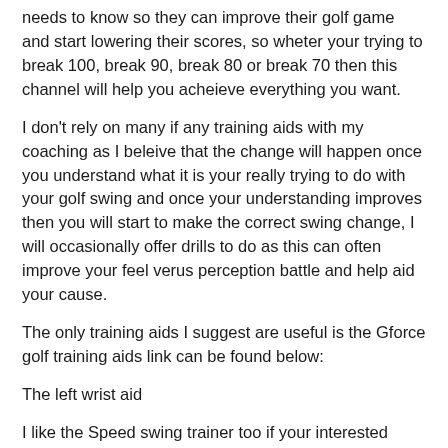needs to know so they can improve their golf game and start lowering their scores, so wheter your trying to break 100, break 90, break 80 or break 70 then this channel will help you acheieve everything you want.
I don't rely on many if any training aids with my coaching as I beleive that the change will happen once you understand what it is your really trying to do with your golf swing and once your understanding improves then you will start to make the correct swing change, I will occasionally offer drills to do as this can often improve your feel verus perception battle and help aid your cause.
The only training aids I suggest are useful is the Gforce golf training aids link can be found below:
The left wrist aid
I like the Speed swing trainer too if your interested follow the link below and use code
ssgrussell10